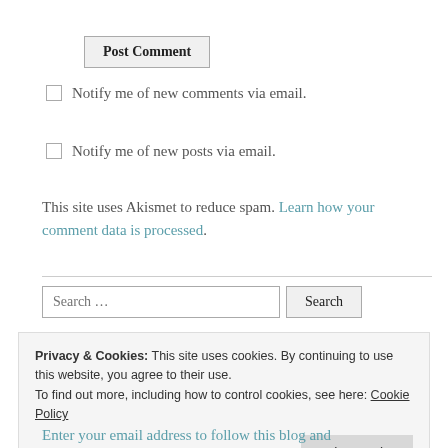Post Comment
Notify me of new comments via email.
Notify me of new posts via email.
This site uses Akismet to reduce spam. Learn how your comment data is processed.
Search …  Search
Privacy & Cookies: This site uses cookies. By continuing to use this website, you agree to their use.
To find out more, including how to control cookies, see here: Cookie Policy
Ok, I got it!
Enter your email address to follow this blog and